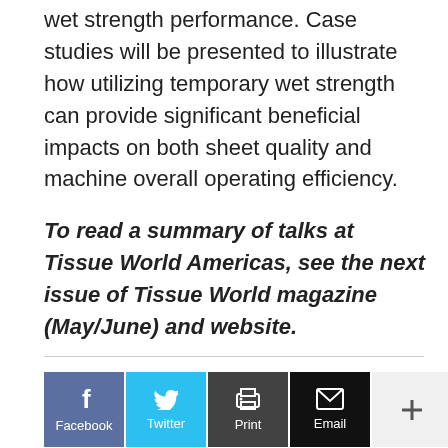wet strength performance. Case studies will be presented to illustrate how utilizing temporary wet strength can provide significant beneficial impacts on both sheet quality and machine overall operating efficiency.
To read a summary of talks at Tissue World Americas, see the next issue of Tissue World magazine (May/June) and website.
[Figure (infographic): Social share buttons: Facebook (blue), Twitter (light blue), Print (dark gray), Email (black), More/Plus (light gray)]